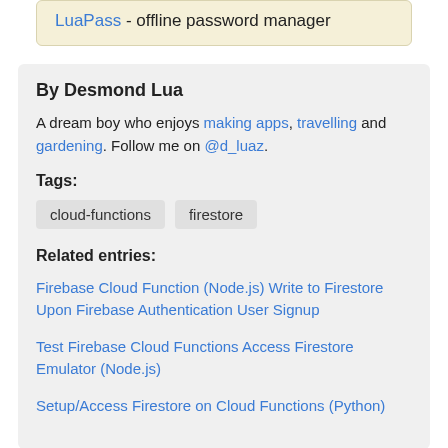LuaPass - offline password manager
By Desmond Lua
A dream boy who enjoys making apps, travelling and gardening. Follow me on @d_luaz.
Tags:
cloud-functions
firestore
Related entries:
Firebase Cloud Function (Node.js) Write to Firestore Upon Firebase Authentication User Signup
Test Firebase Cloud Functions Access Firestore Emulator (Node.js)
Setup/Access Firestore on Cloud Functions (Python)